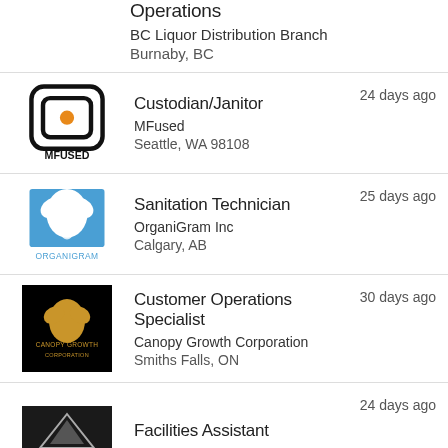Mainland, Cannabis Operations
BC Liquor Distribution Branch
Burnaby, BC
Custodian/Janitor | MFused | Seattle, WA 98108 | 24 days ago
Sanitation Technician | OrganiGram Inc | Calgary, AB | 25 days ago
Customer Operations Specialist | Canopy Growth Corporation | Smiths Falls, ON | 30 days ago
Facilities Assistant | 24 days ago